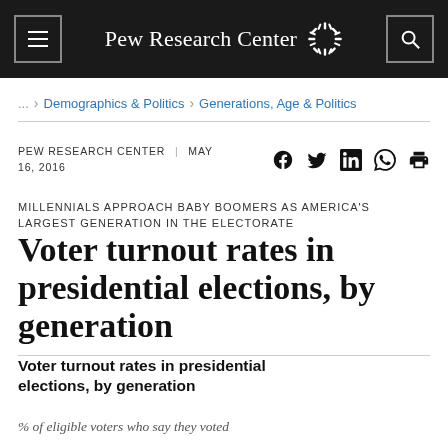Pew Research Center
... > Demographics & Politics > Generations, Age & Politics
PEW RESEARCH CENTER | MAY 16, 2016
MILLENNIALS APPROACH BABY BOOMERS AS AMERICA'S LARGEST GENERATION IN THE ELECTORATE
Voter turnout rates in presidential elections, by generation
Voter turnout rates in presidential elections, by generation
% of eligible voters who say they voted